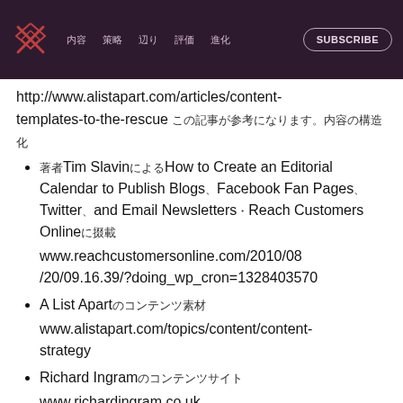Navigation header with logo, nav items, and SUBSCRIBE button
http://www.alistapart.com/articles/content-templates-to-the-rescue [CJK characters]
[CJK]Tim Slavin[CJK]How to Create an Editorial Calendar to Publish Blogs[CJK]Facebook Fan Pages[CJK]Twitter[CJK]and Email Newsletters[CJK]Reach Customers Online[CJK] www.reachcustomersonline.com/2010/08/20/09.16.39/?doing_wp_cron=1328403570
A List Apart[CJK] www.alistapart.com/topics/content/content-strategy
Richard Ingram[CJK] www.richardingram.co.uk
Contents Magazine[CJK]